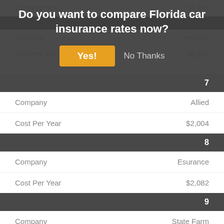Do you want to compare Florida car insurance rates now?
|  |  |
| --- | --- |
| 7 |  |
| Company | Allied |
| Cost Per Year | $2,004 |
| 8 |  |
| Company | Esurance |
| Cost Per Year | $2,082 |
| 9 |  |
| Company | State Farm |
| Cost Per Year | $2,131 |